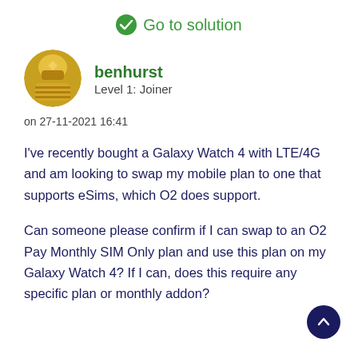Go to solution
[Figure (illustration): User avatar - golden/yellow circular avatar with abstract figure design]
benhurst
Level 1: Joiner
on 27-11-2021 16:41
I've recently bought a Galaxy Watch 4 with LTE/4G and am looking to swap my mobile plan to one that supports eSims, which O2 does support.
Can someone please confirm if I can swap to an O2 Pay Monthly SIM Only plan and use this plan on my Galaxy Watch 4? If I can, does this require any specific plan or monthly addon?